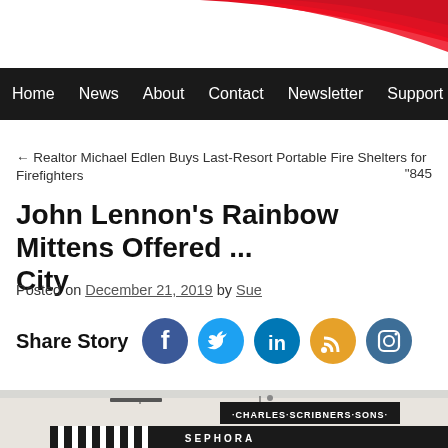[Figure (illustration): Red swoosh/stripe graphic in top right corner of page header]
Home  News  About  Contact  Newsletter  Support by Dona...
← Realtor Michael Edlen Buys Last-Resort Portable Fire Shelters for Firefighters
"845...
John Lennon's Rainbow Mittens Offered ... City
Posted on December 21, 2019 by Sue
Share Story
[Figure (photo): Street-level photo showing Charles Scribner's Sons building facade with Sephora store awnings below]